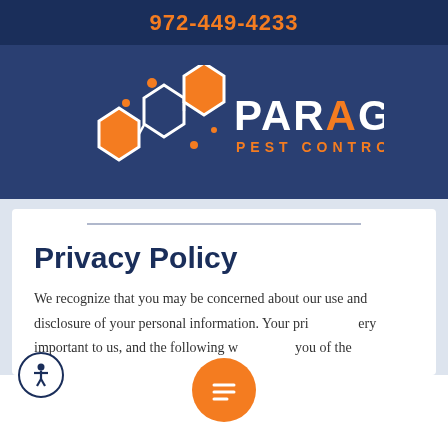972-449-4233
[Figure (logo): Paragon Pest Control logo with hexagonal molecular graphic in white and orange, text PARAGON in white with orange diamond O, PEST CONTROL in orange below]
Privacy Policy
We recognize that you may be concerned about our use and disclosure of your personal information. Your privacy is very important to us, and the following w... you of the